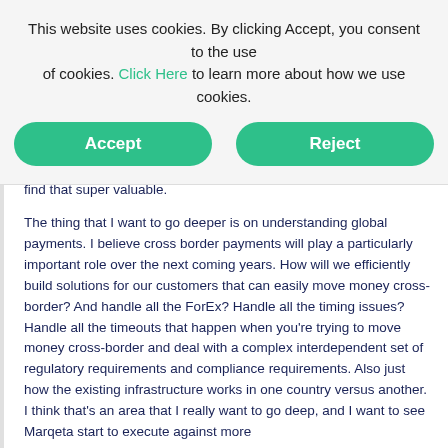This website uses cookies. By clicking Accept, you consent to the use of cookies. Click Here to learn more about how we use cookies.
Accept  Reject
find that super valuable.
The thing that I want to go deeper is on understanding global payments. I believe cross border payments will play a particularly important role over the next coming years. How will we efficiently build solutions for our customers that can easily move money cross-border? And handle all the ForEx? Handle all the timing issues? Handle all the timeouts that happen when you're trying to move money cross-border and deal with a complex interdependent set of regulatory requirements and compliance requirements. Also just how the existing infrastructure works in one country versus another. I think that's an area that I really want to go deep, and I want to see Marqeta start to execute against more